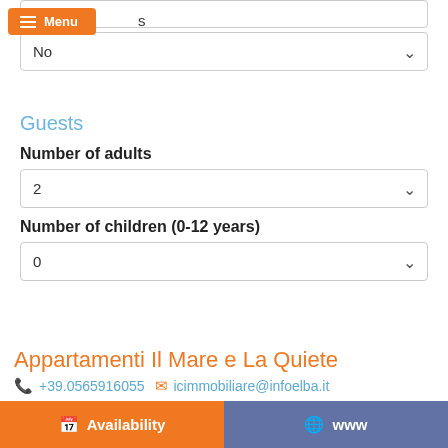[Figure (screenshot): Orange menu button with hamburger icon and 'Menu' text]
s
No (dropdown)
Guests
Number of adults
2 (dropdown)
Number of children (0-12 years)
0 (dropdown)
Appartamenti Il Mare e La Quiete
+39.0565916055  icimmobiliare@infoelba.it
Availability
www